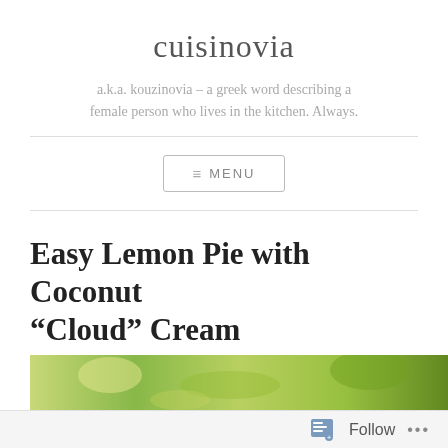cuisinovia
a.k.a. kouzinovia – a greek word describing a female person who lives in the kitchen. Always.
MENU
Easy Lemon Pie with Coconut “Cloud” Cream
APRIL 5, 2017  –  GALATIA
[Figure (photo): Partial view of a food photograph showing a lemon pie with coconut cream, with green garnishes visible]